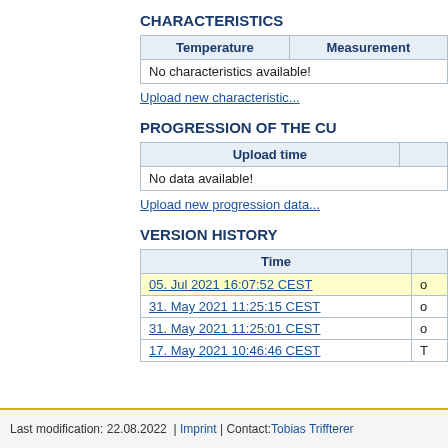CHARACTERISTICS
| Temperature | Measurement |
| --- | --- |
| No characteristics available! |  |
Upload new characteristic...
PROGRESSION OF THE CU
| Upload time |  |
| --- | --- |
| No data available! |  |
Upload new progression data...
VERSION HISTORY
| Time |  |
| --- | --- |
| 05. Jul 2021 16:07:52 CEST | o |
| 31. May 2021 11:25:15 CEST | o |
| 31. May 2021 11:25:01 CEST | o |
| 17. May 2021 10:46:46 CEST | T |
Last modification: 22.08.2022  |  Imprint  |  Contact: Tobias Triffterer